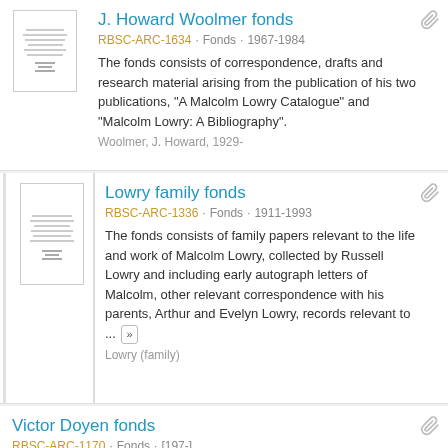J. Howard Woolmer fonds
RBSC-ARC-1634 · Fonds · 1967-1984
The fonds consists of correspondence, drafts and research material arising from the publication of his two publications, "A Malcolm Lowry Catalogue" and "Malcolm Lowry: A Bibliography".
Woolmer, J. Howard, 1929-
Lowry family fonds
RBSC-ARC-1336 · Fonds · 1911-1993
The fonds consists of family papers relevant to the life and work of Malcolm Lowry, collected by Russell Lowry and including early autograph letters of Malcolm, other relevant correspondence with his parents, Arthur and Evelyn Lowry, records relevant to ... »
Lowry (family)
Victor Doyen fonds
RBSC-ARC-1170 · Fonds · [197-]
The fonds consists of correspondence and photocopied material relating to his research on Malcolm Lowry.
Doyen, Victor